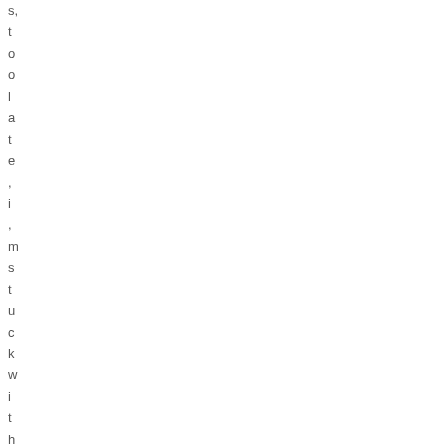s, toolate, i, mstuckwithalosing